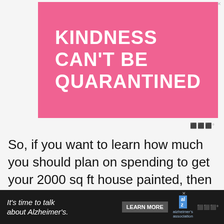[Figure (illustration): Pink advertisement banner with white bold text reading 'KINDNESS CAN'T BE QUARANTINED' with a close X button in top right corner]
So, if you want to learn how much you should plan on spending to get your 2000 sq ft house painted, then keep reading for all our tips and insights below!
[Figure (illustration): Black bottom banner ad: 'It's time to talk about Alzheimer's.' with LEARN MORE button, Alzheimer's Association logo, Mediavine icon, and close X button]